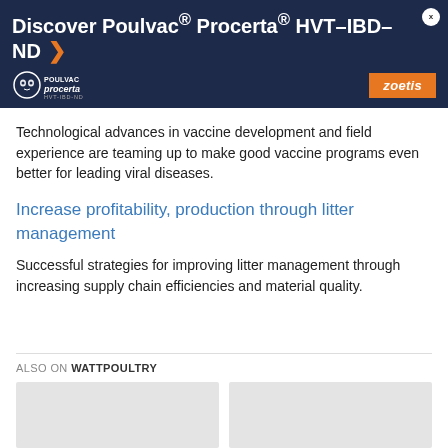Discover Poulvac® Procerta® HVT–IBD–ND
Technological advances in vaccine development and field experience are teaming up to make good vaccine programs even better for leading viral diseases.
Increase profitability, production through litter management
Successful strategies for improving litter management through increasing supply chain efficiencies and material quality.
ALSO ON WATTPOULTRY
[Figure (other): Two thumbnail image placeholders side by side under 'Also on Wattpoultry' section]